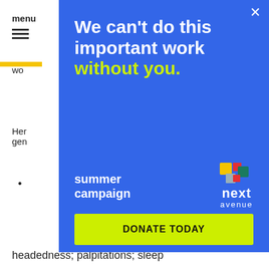menu
wo
Her gen
t
•
n of
[Figure (infographic): Blue modal overlay with white and yellow-green text reading 'We can't do this important work without you.' with 'without you.' in yellow-green. Below left: 'summer campaign' in white bold. Bottom right: Next Avenue logo with colorful squares icon. Bottom: yellow-green DONATE TODAY button. Top right: white X close button.]
headedness; palpitations; sleep